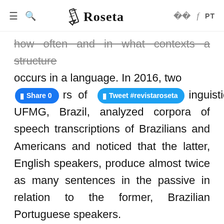Roseta — PT
how often and in what contexts a structure occurs in a language. In 2016, two professors of English Linguistics at UFMG, Brazil, analyzed corpora of speech transcriptions of Brazilians and Americans and noticed that the latter, English speakers, produce almost twice as many sentences in the passive in relation to the former, Brazilian Portuguese speakers.